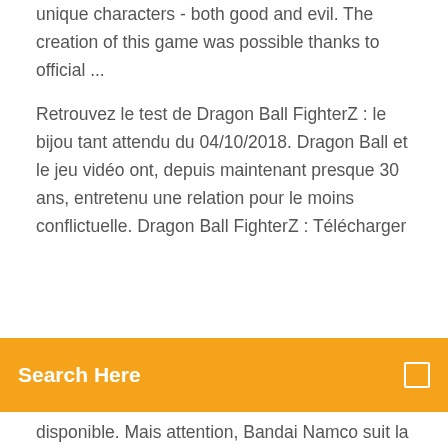unique characters - both good and evil. The creation of this game was possible thanks to official ...
Retrouvez le test de Dragon Ball FighterZ : le bijou tant attendu du 04/10/2018. Dragon Ball et le jeu vidéo ont, depuis maintenant presque 30 ans, entretenu une relation pour le moins conflictuelle. Dragon Ball FighterZ : Télécharger
Search Here
disponible. Mais attention, Bandai Namco suit la tendance et a décidé de sortir le jeu uniquement dans certains pays dans un premier temps. Pour l'heure, Dragon Ball Legends n'est pas... Dragon Ball FighterZ : La liste des coups spéciaux ... Dragon Ball FighterZ : Encore du gameplay - Dragon Ball Super ... Dragon Ball FighterZ : Encore du gameplay - DB FighterZ - DBZ Fighters - vidéos - Futur Trunks - Mirai Trunks - Vegeta - Goku SSJ - Freezer
Dragon Ball FighterZ Demo Telecharger | Game Dow...